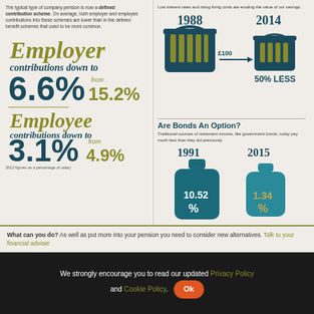The typical type of company pension is now a defined contribution scheme. On average, both employer and employee contributions into these schemes are lower than in the defined benefit schemes that used to be more common.
[Figure (infographic): Employer contributions down to 6.6% from 15.2% shown with large styled typography in teal and olive colors]
[Figure (infographic): Employee contributions down to 3.1% from 4.9% shown with large styled typography in teal and olive colors]
2012 figures as a percentage of salary
[Figure (infographic): Two shopping baskets labeled 1988 and 2014 with £100 arrow showing 50% less purchasing power]
Are Bonds An Option?
Traditional sources of retirement income, like government bonds, today pay much less than they did previously.
[Figure (infographic): Two milk bottle shapes labeled 1991 (10.52%) and 2015 (1.34%) showing average yields on 10-year UK government bonds]
Average yields on 10-year UK government bonds
What can you do? As well as put more into your pension you need to consider new alternatives. Talk to your financial adviser
We strongly encourage you to read our updated Privacy Policy and Cookie Policy. Ok